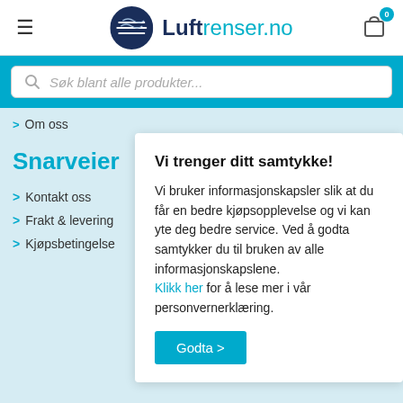[Figure (logo): Luftrenser.no logo with dark blue circle containing wave/air filter graphic and teal text]
Søk blant alle produkter...
> Om oss
Snarveier
> Kontakt oss
> Frakt & levering
> Kjøpsbetingelser
Vi trenger ditt samtykke!
Vi bruker informasjonskapsler slik at du får en bedre kjøpsopplevelse og vi kan yte deg bedre service. Ved å godta samtykker du til bruken av alle informasjonskapslene. Klikk her for å lese mer i vår personvernerklæring.
Godta >